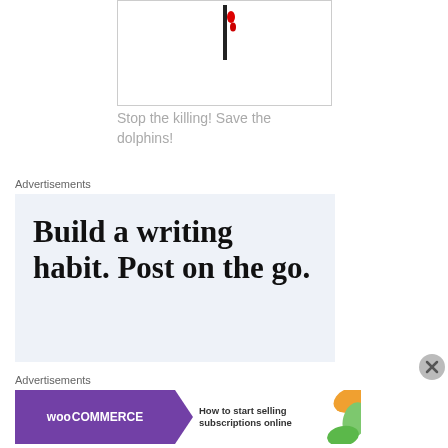[Figure (illustration): A simple icon showing a pin/needle with red blood drops falling from it, on a white background with a light grey border.]
Stop the killing! Save the dolphins!
Advertisements
[Figure (screenshot): Advertisement with light blue background showing the text 'Build a writing habit. Post on the go.' in large serif bold font.]
Advertisements
[Figure (screenshot): WooCommerce advertisement banner with purple background, WooCommerce logo, green arrow, and text 'How to start selling subscriptions online' with orange/green swirl decoration.]